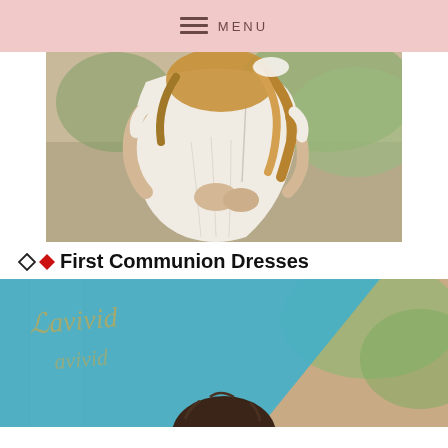MENU
[Figure (photo): Photo of a girl in a white communion dress seen from behind, with curly blonde hair and white gloves, outdoors with greenery.]
◇◆First Communion Dresses
[Figure (photo): Photo of a young boy in formal attire with a teal diagonal banner overlay showing the 'Lavivid' brand logo in elegant script, with stone columns in the background.]